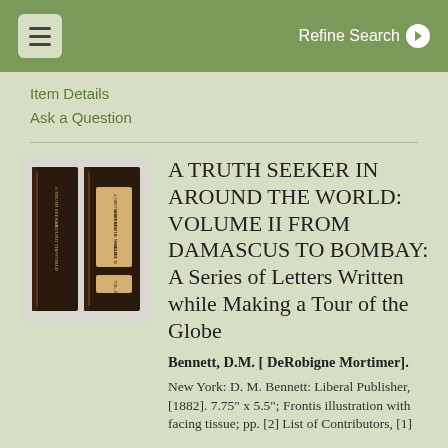Refine Search
Item Details
Ask a Question
[Figure (photo): Photo of a dark brown hardcover book spine, showing 'A TRUTH SEEKER AROUND THE WORLD' and 'VOLUME II' on the spine label]
A TRUTH SEEKER IN AROUND THE WORLD: VOLUME II FROM DAMASCUS TO BOMBAY: A Series of Letters Written while Making a Tour of the Globe
Bennett, D.M. [ DeRobigne Mortimer].
New York: D. M. Bennett: Liberal Publisher, [1882]. 7.75" x 5.5"; Frontis illustration with facing tissue; pp. [2] List of Contributors, [1]